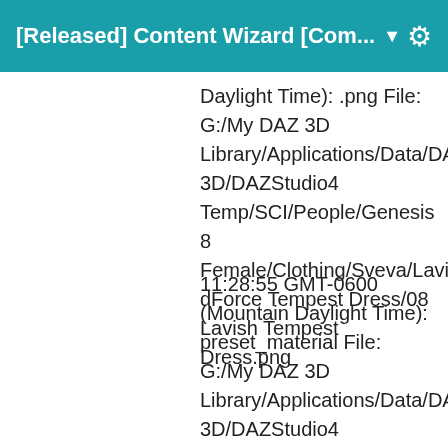[Released] Content Wizard [Com... ▼
Daylight Time): .png File: G:/My DAZ 3D Library/Applications/Data/DAZ 3D/DAZStudio4 Temp/SCI/People/Genesis 8 Female/Clothing/Sveva/LavishdForce Tempest Dress/08 Lavish Tempest Dress.png
11:28:55 GMT-0600 (Mountain Daylight Time): preset_material File: G:/My DAZ 3D Library/Applications/Data/DAZ 3D/DAZStudio4 Temp/SCI/People/Genesis 8 Female/Clothing/Sveva/Lavish dForce Tempest Dress/08